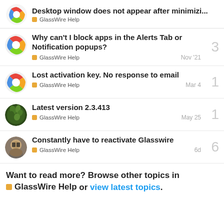Desktop window does not appear after minimizi... | GlassWire Help
Why can't I block apps in the Alerts Tab or Notification popups? | GlassWire Help | Nov '21 | 3 replies
Lost activation key. No response to email | GlassWire Help | Mar 4 | 1 reply
Latest version 2.3.413 | GlassWire Help | May 25 | 1 reply
Constantly have to reactivate Glasswire | GlassWire Help | 6d | 6 replies
Want to read more? Browse other topics in GlassWire Help or view latest topics.